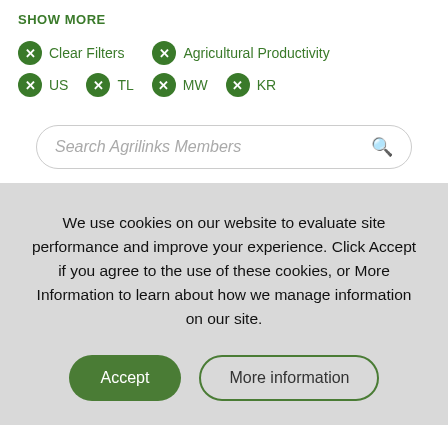SHOW MORE
Clear Filters
Agricultural Productivity
US
TL
MW
KR
Search Agrilinks Members
We use cookies on our website to evaluate site performance and improve your experience. Click Accept if you agree to the use of these cookies, or More Information to learn about how we manage information on our site.